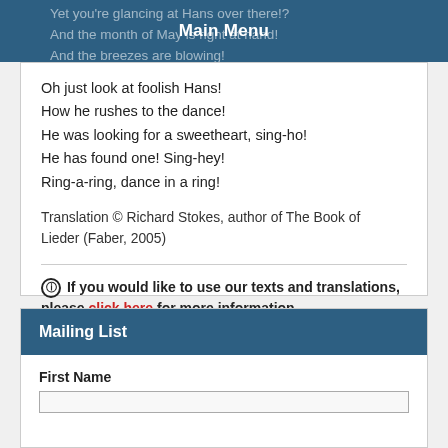Main Menu
Yet you're glancing at Hans over there!?
And the month of May is right at hand!
And the breezes are blowing!
Oh just look at foolish Hans!
How he rushes to the dance!
He was looking for a sweetheart, sing-ho!
He has found one! Sing-hey!
Ring-a-ring, dance in a ring!
Translation © Richard Stokes, author of The Book of Lieder (Faber, 2005)
ℹ If you would like to use our texts and translations, please click here for more information.
Mailing List
First Name